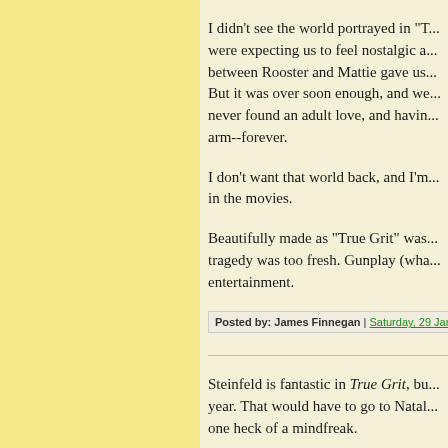I didn't see the world portrayed in "T... were expecting us to feel nostalgic a... between Rooster and Mattie gave us... But it was over soon enough, and we... never found an adult love, and havin... arm--forever.
I don't want that world back, and I'm... in the movies.
Beautifully made as "True Grit" was... tragedy was too fresh. Gunplay (wha... entertainment.
Posted by: James Finnegan | Saturday, 29 January 20...
Steinfeld is fantastic in True Grit, bu... year. That would have to go to Natal... one heck of a mindfreak.